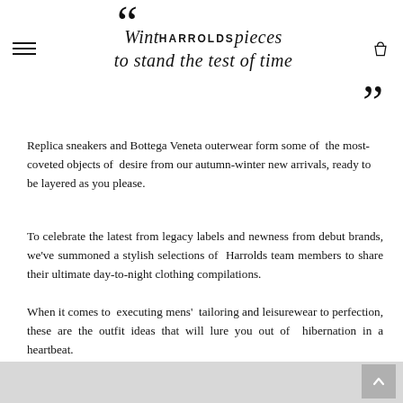Winter pieces to stand the test of time — HARROLDS
Replica sneakers and Bottega Veneta outerwear form some of the most-coveted objects of desire from our autumn-winter new arrivals, ready to be layered as you please.
To celebrate the latest from legacy labels and newness from debut brands, we've summoned a stylish selections of Harrolds team members to share their ultimate day-to-night clothing compilations.
When it comes to executing mens' tailoring and leisurewear to perfection, these are the outfit ideas that will lure you out of hibernation in a heartbeat.
JOEL RANKIN, Lead Visual Stylist